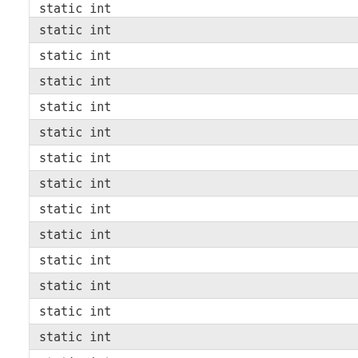static int
static int
static int
static int
static int
static int
static int
static int
static int
static int
static int
static int
static int
static int